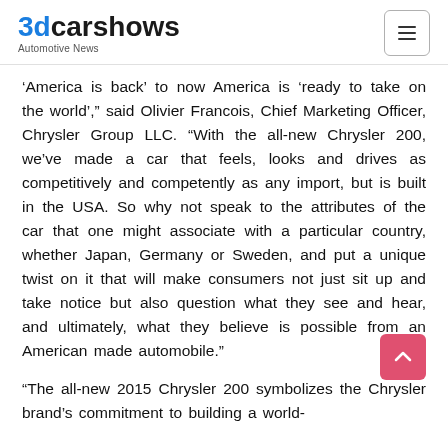3dcarshows Automotive News
‘America is back’ to now America is ‘ready to take on the world’,” said Olivier Francois, Chief Marketing Officer, Chrysler Group LLC. “With the all-new Chrysler 200, we’ve made a car that feels, looks and drives as competitively and competently as any import, but is built in the USA. So why not speak to the attributes of the car that one might associate with a particular country, whether Japan, Germany or Sweden, and put a unique twist on it that will make consumers not just sit up and take notice but also question what they see and hear, and ultimately, what they believe is possible from an American made automobile.”
“The all-new 2015 Chrysler 200 symbolizes the Chrysler brand’s commitment to building a world-